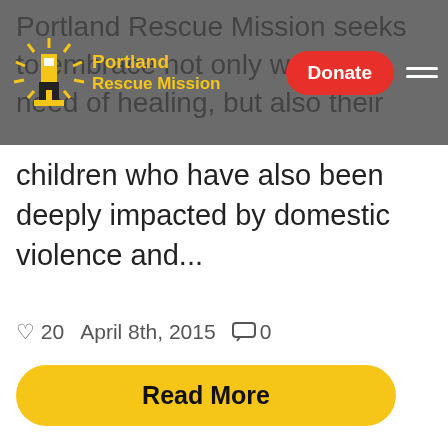Portland Rescue Mission | Donate
Portland Rescue Mission seeks to embrace not only women in need of healing, but also their children who have also been deeply impacted by domestic violence and...
♡ 20   April 8th, 2015   ⊟ 0
Read More
P.O. Box 3713